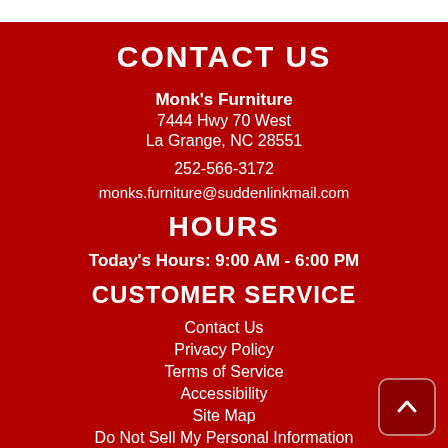CONTACT US
Monk's Furniture
7444 Hwy 70 West
La Grange, NC 28551
252-566-3172
monks.furniture@suddenlinkmail.com
HOURS
Today's Hours: 9:00 AM - 6:00 PM
CUSTOMER SERVICE
Contact Us
Privacy Policy
Terms of Service
Accessibility
Site Map
Do Not Sell My Personal Information